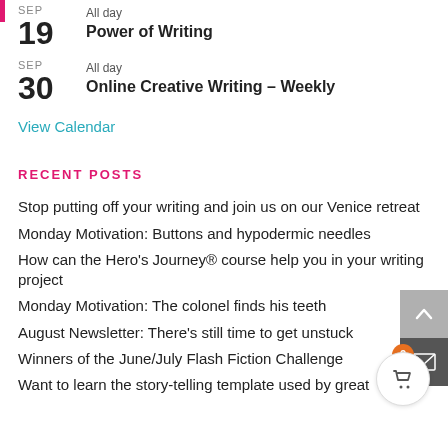SEP 19 All day Power of Writing
SEP 30 All day Online Creative Writing – Weekly
View Calendar
RECENT POSTS
Stop putting off your writing and join us on our Venice retreat
Monday Motivation: Buttons and hypodermic needles
How can the Hero's Journey® course help you in your writing project
Monday Motivation: The colonel finds his teeth
August Newsletter: There's still time to get unstuck
Winners of the June/July Flash Fiction Challenge
Want to learn the story-telling template used by great